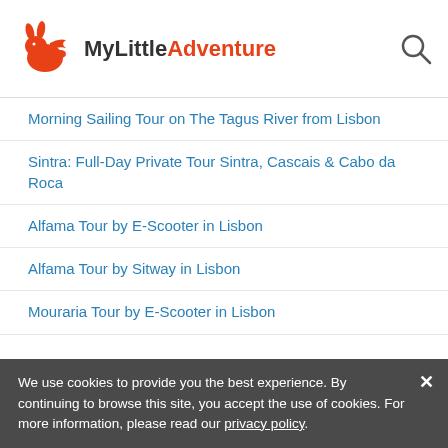[Figure (logo): MyLittleAdventure logo with orange rabbit icon and brand name]
Morning Sailing Tour on The Tagus River from Lisbon
Sintra: Full-Day Private Tour Sintra, Cascais & Cabo da Roca
Alfama Tour by E-Scooter in Lisbon
Alfama Tour by Sitway in Lisbon
Mouraria Tour by E-Scooter in Lisbon
Mouraria Tour by Sitway in Lisbon
Lisbon Scooter Rental
Bike Rental in Lisbon
Lisbon Boat Party
Portuguese History and Flavors Walking Tour with Tastings
Local Fado House Experience in Alfama or Bairro Alto with Snacks
Lisbon Layover
Fátima Half Day Tour
We use cookies to provide you the best experience. By continuing to browse this site, you accept the use of cookies. For more information, please read our privacy policy.